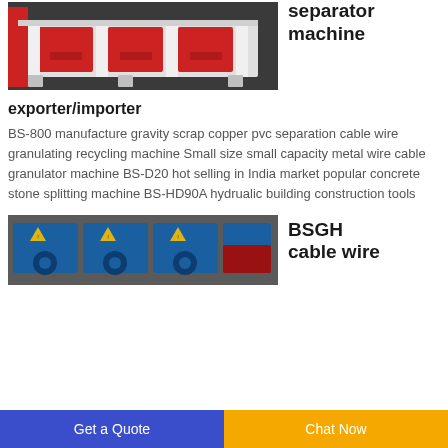[Figure (photo): Industrial machine with red panels and white frame structure on a dark floor]
separator machine
exporter/importer
BS-800 manufacture gravity scrap copper pvc separation cable wire granulating recycling machine Small size small capacity metal wire cable granulator machine BS-D20 hot selling in India market popular concrete stone splitting machine BS-HD90A hydrualic building construction tools
[Figure (photo): Blue industrial cable wire machines with warning labels]
BSGH cable wire
Get a Quote | Chat Now